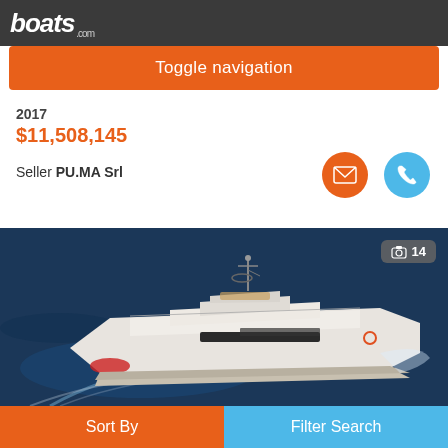boats.com
Toggle navigation
2017
$11,508,145
Seller PU.MA Srl
[Figure (photo): Aerial view of a large white luxury motor yacht cruising in dark blue open water, with wake trailing behind. The yacht has multiple decks, an upper helm station with radar/antenna equipment, and sun deck areas.]
14
Sort By
Filter Search